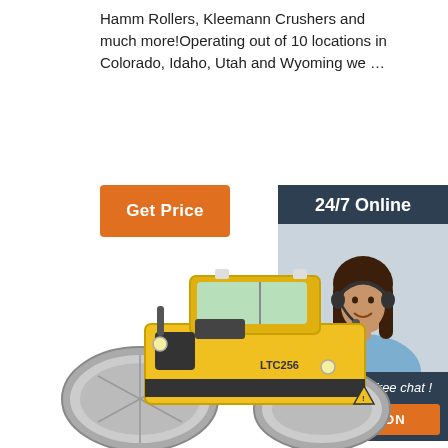Hamm Rollers, Kleemann Crushers and much more!Operating out of 10 locations in Colorado, Idaho, Utah and Wyoming we …
[Figure (other): Orange 'Get Price' button]
[Figure (other): Dark blue side panel with '24/7 Online' header, photo of woman with headset, 'Click here for free chat!' text, and orange QUOTATION button]
[Figure (photo): Yellow road roller / compactor machine labeled LTC256 on a white background]